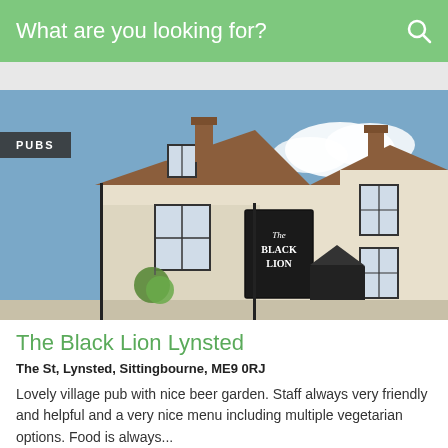What are you looking for?
[Figure (photo): Exterior photograph of The Black Lion pub in Lynsted, a cream-coloured traditional English building with a Black Lion pub sign, sash windows, red brick chimney, hanging flower baskets, and a blue sky with clouds. A 'PUBS' badge overlay is shown in the top-left of the image.]
The Black Lion Lynsted
The St, Lynsted, Sittingbourne, ME9 0RJ
Lovely village pub with nice beer garden. Staff always very friendly and helpful and a very nice menu including multiple vegetarian options. Food is always...